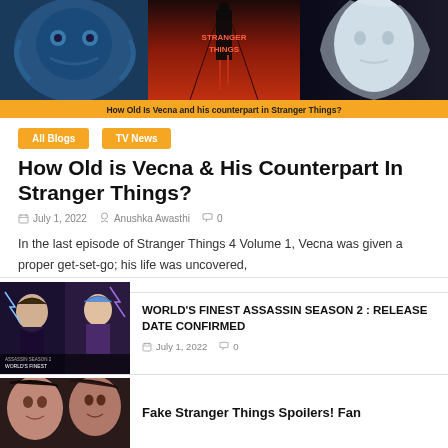[Figure (photo): Hero image for Stranger Things Vecna article, showing a blue monster, a dark red corridor with 'Stranger Things' text, and a pale-faced character]
How Old Is Vecna and his counterpart in Stranger Things?
All Blogs
TV News
How Old is Vecna & His Counterpart In Stranger Things?
July 1, 2022   Anushka Awasthi   0
In the last episode of Stranger Things 4 Volume 1, Vecna was given a proper get-set-go; his life was uncovered,
[Figure (photo): Thumbnail for World's Finest Assassin Season 2 article showing anime characters]
WORLD'S FINEST ASSASSIN SEASON 2 : RELEASE DATE CONFIRMED
July 1, 2022   0
[Figure (photo): Thumbnail for Fake Stranger Things Spoilers article]
Fake Stranger Things Spoilers! Fan